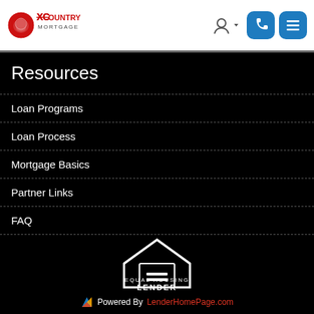XCountry Mortgage — navigation header with logo, user icon, phone button, menu button
Resources
Loan Programs
Loan Process
Mortgage Basics
Partner Links
FAQ
[Figure (logo): Equal Housing Lender logo — house outline with equals sign inside, text EQUAL HOUSING LENDER below]
Powered By LenderHomePage.com